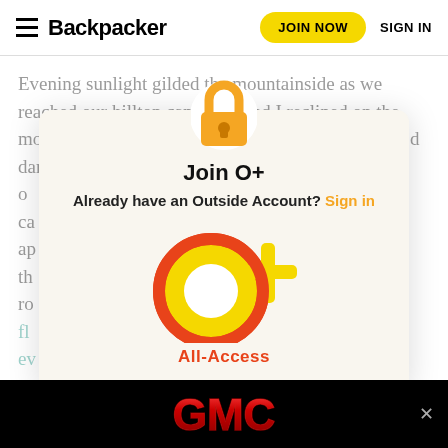Backpacker | JOIN NOW | SIGN IN
Evening sunlight gilded the mountainside as we reached our hilltop campsite, and I reclined on the moist, therapeutic mattress of soil to enjoy it. S… d dark clouds had passed o… ca… ap… th… t ro… g fl… ev… m… ab… g an… t li…
[Figure (screenshot): Join O+ modal popup with lock icon at top, title 'Join O+', subtitle 'Already have an Outside Account? Sign in', and large O+ logo with 'All-Access' label below.]
[Figure (logo): GMC logo advertisement banner at bottom, black background with red GMC text, close button on right.]